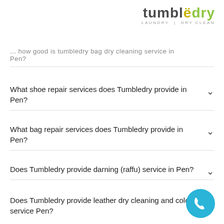[Figure (logo): Tumbledry logo with tagline LAUNDRY | DRY CLEAN]
...how good is tumbledry bag dry cleaning service in Pen?
What shoe repair services does Tumbledry provide in Pen?
What bag repair services does Tumbledry provide in Pen?
Does Tumbledry provide darning (raffu) service in Pen?
Does Tumbledry provide leather dry cleaning and coloring service Pen?